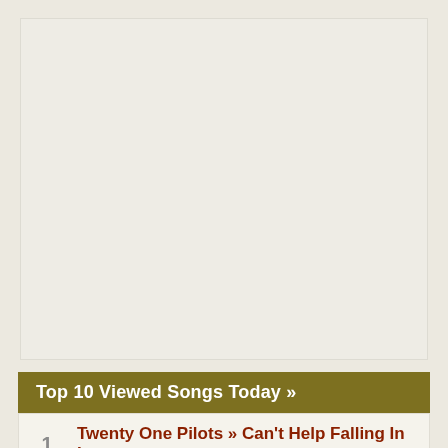[Figure (other): Large light beige blank/empty rectangular area, likely a placeholder for an image or advertisement]
Top 10 Viewed Songs Today »
1  Twenty One Pilots » Can't Help Falling In Love